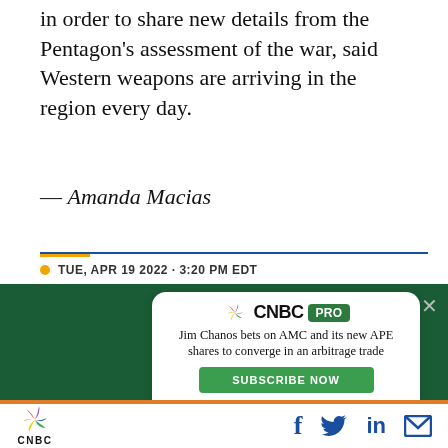in order to share new details from the Pentagon's assessment of the war, said Western weapons are arriving in the region every day.
— Amanda Macias
TUE, APR 19 2022 · 3:20 PM EDT
[Figure (infographic): CNBC PRO advertisement card on dark green background. Headline: Jim Chanos bets on AMC and its new APE shares to converge in an arbitrage trade. Subscribe Now green button.]
[Figure (logo): CNBC logo at footer with social media icons: Facebook, Twitter, LinkedIn, Email]